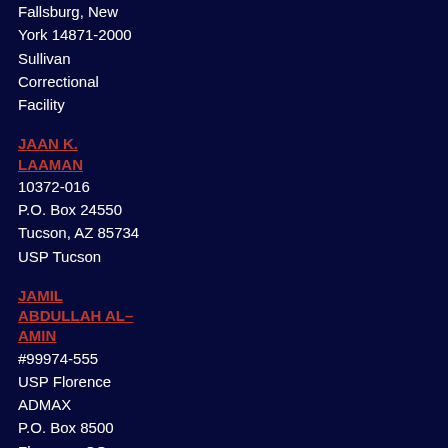Fallsburg, New York 14871-2000 Sullivan Correctional Facility
JAAN K. LAAMAN
10372-016
P.O. Box 24550
Tucson, AZ 85734
USP Tucson
JAMIL ABDULLAH AL-AMIN
#99974-555
USP Florence ADMAX
P.O. Box 8500
Florence, CO